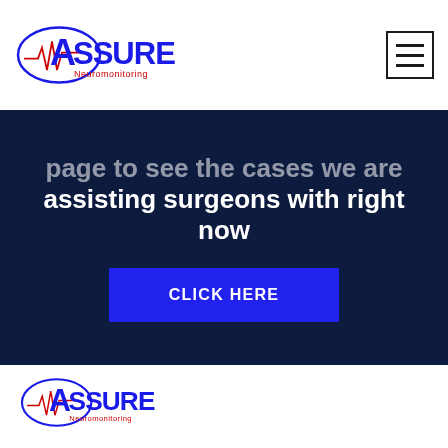Assure Neuromonitoring logo and navigation menu
page to see the cases we are assisting surgeons with right now
CLICK HERE
[Figure (logo): Assure Neuromonitoring logo in footer]
Contact Us
Assure Neuromonitoring